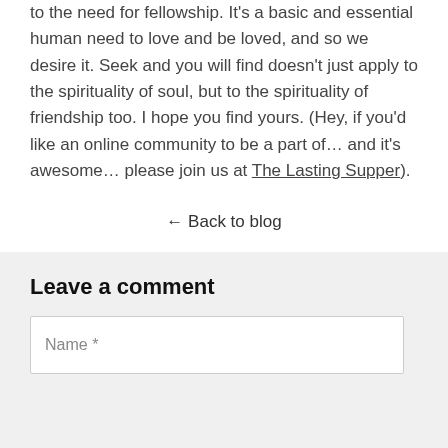to the need for fellowship. It's a basic and essential human need to love and be loved, and so we desire it. Seek and you will find doesn't just apply to the spirituality of soul, but to the spirituality of friendship too. I hope you find yours. (Hey, if you'd like an online community to be a part of... and it's awesome... please join us at The Lasting Supper).
← Back to blog
Leave a comment
Name *